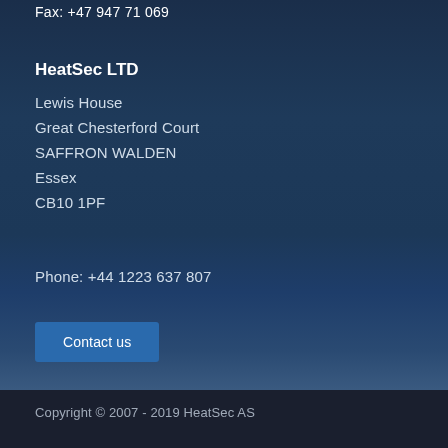Fax: +47 947 71 069
HeatSec LTD
Lewis House
Great Chesterford Court
SAFFRON WALDEN
Essex
CB10 1PF
Phone: +44 1223 637 807
Contact us
Copyright © 2007 - 2019 HeatSec AS